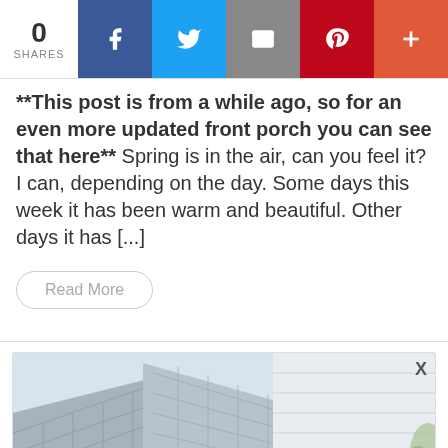[Figure (infographic): Social share bar with 0 shares count, Facebook (blue), Twitter (light blue), Email (grey), Pinterest (red), and plus (orange-red) buttons]
**This post is from a while ago, so for an even more updated front porch you can see that here** Spring is in the air, can you feel it? I can, depending on the day. Some days this week it has been warm and beautiful. Other days it has [...]
Read More
[Figure (photo): Photo of a house roof with grey shingles and white siding, partially visible. An X close button is in the top right corner. An advertisement banner for BitLife - Life Simulator app is at the bottom with an Install! link.]